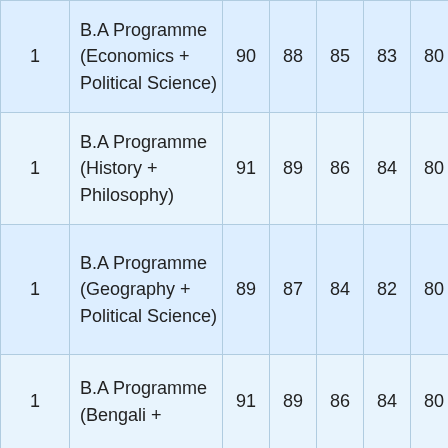|  | Programme | Col1 | Col2 | Col3 | Col4 | Col5 |
| --- | --- | --- | --- | --- | --- | --- |
| 1 | B.A Programme (Economics + Political Science) | 90 | 88 | 85 | 83 | 80 |
| 1 | B.A Programme (History + Philosophy) | 91 | 89 | 86 | 84 | 80 |
| 1 | B.A Programme (Geography + Political Science) | 89 | 87 | 84 | 82 | 80 |
| 1 | B.A Programme (Bengali + | 91 | 89 | 86 | 84 | 80 |